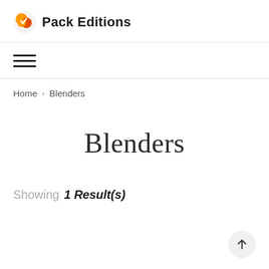Pack Editions
[Figure (illustration): Hamburger menu icon with three horizontal lines]
Home > Blenders
Blenders
Showing 1 Result(s)